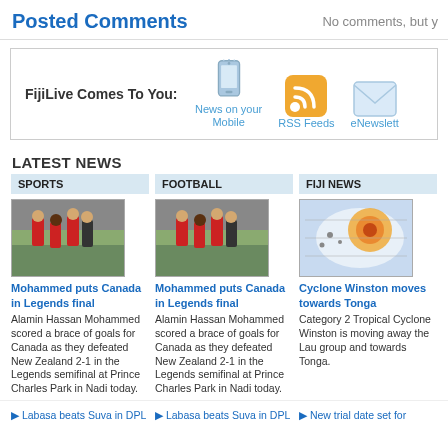Posted Comments
No comments, but y
FijiLive Comes To You:
[Figure (infographic): Icons for News on your Mobile, RSS Feeds, and eNewsletter]
LATEST NEWS
SPORTS
[Figure (photo): Football players on pitch - Mohammed Canada Legends]
Mohammed puts Canada in Legends final
Alamin Hassan Mohammed scored a brace of goals for Canada as they defeated New Zealand 2-1 in the Legends semifinal at Prince Charles Park in Nadi today.
FOOTBALL
[Figure (photo): Football players on pitch - Mohammed Canada Legends]
Mohammed puts Canada in Legends final
Alamin Hassan Mohammed scored a brace of goals for Canada as they defeated New Zealand 2-1 in the Legends semifinal at Prince Charles Park in Nadi today.
FIJI NEWS
[Figure (photo): Map showing Cyclone Winston path towards Tonga]
Cyclone Winston moves towards Tonga
Category 2 Tropical Cyclone Winston is moving away the Lau group and towards Tonga.
Labasa beats Suva in DPL
Labasa beats Suva in DPL
New trial date set for...